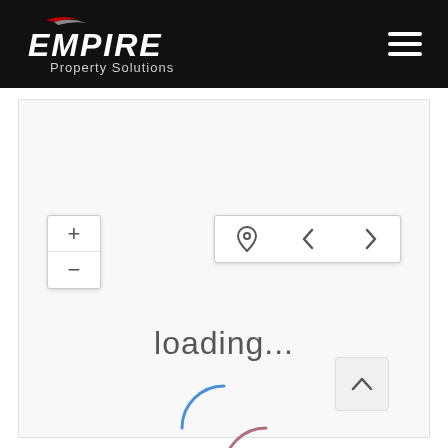[Figure (logo): Empire Property Solutions logo — white text on black background with red/white swoosh accent above the 'E' in Empire]
[Figure (screenshot): Map interface screenshot showing zoom controls (+ and -) on the left, navigation controls (location pin, left arrow, right arrow) on the top right, a 'loading...' text in the center with a circular spinner (blue and pink/mauve arcs), and a scroll-to-top button (chevron up) at the bottom right. The map area is white/blank while loading.]